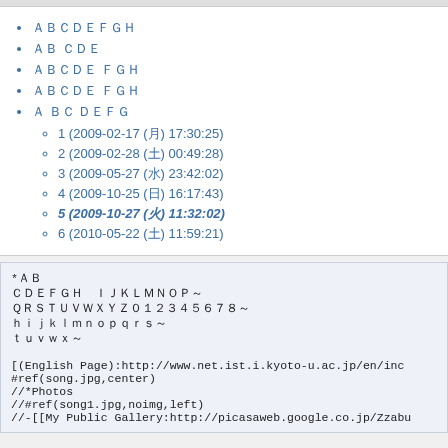ＡＢＣＤＥＦＧＨの履歴
新しい ページ
ページのＸＸＸ 作成へ
ページのＸＸＸ 差分へ
Ａ の ＢＢ ＣＣＤＥへ
1 (2009-02-17 (月) 17:30:25)
2 (2009-02-28 (土) 00:49:28)
3 (2009-05-27 (水) 23:42:02)
4 (2009-10-25 (日) 16:17:43)
5 (2009-10-27 (火) 11:32:02)
6 (2010-05-22 (土) 11:59:21)
*ＡＢ
ＣＤＥＦＧＨ　ＩＪＫＬＭＮＯＰ～
ＱＲＳＴＵＶＷＸＹＺａｂｃｄｅｆｇ～
ｈｉｊｋｌｍｎｏｐｑｒｓ～
ｔｕｖｗｘ～

[(English Page):http://www.net.ist.i.kyoto-u.ac.jp/en/inc
#ref(song.jpg,center)
//*Photos
//#ref(song1.jpg,noimg,left)
//-[[My Public Gallery:http://picasaweb.google.co.jp/Zzabu